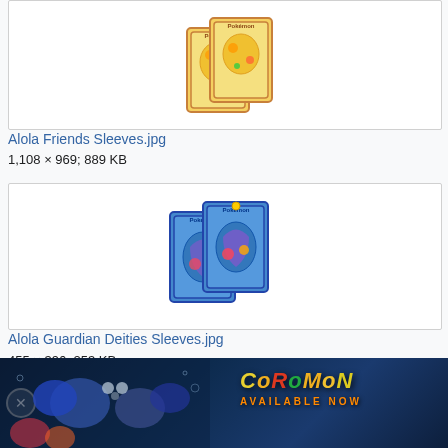[Figure (photo): Two Alola Friends Pokémon card sleeves with yellow/tropical design featuring Pikachu]
Alola Friends Sleeves.jpg
1,108 × 969; 889 KB
[Figure (photo): Two Alola Guardian Deities Pokémon card sleeves with blue design featuring guardian deities]
Alola Guardian Deities Sleeves.jpg
455 × 396; 253 KB
[Figure (photo): Coromon game advertisement banner showing underwater creatures and the text COROMON AVAILABLE NOW]